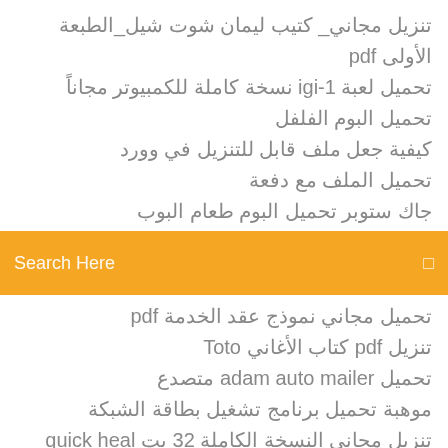تنزيل مجاني_ كتيب ليمان شوت شيل_الطبعة الأولى pdf
تحميل لعبة igi-1 نسخة كاملة للكمبيوتر مجاناً
تحميل البوم الفلفل
كيفية جعل ملف قابل للتنزيل في وورد
تحميل الملف مع دفعة
جاك ستوبر تحميل البوم طعام البوب
[Figure (screenshot): Orange search bar with 'Search Here' placeholder text and a search icon on the right]
تحميل مجاني نموذج عقد الخدمة pdf
تنزيل pdf كتاب الأغاني Toto
تحميل adam auto mailer متصدع
موهبة تحميل برنامج تشغيل بطاقة الشبكة
تنزيل مجاني النسخة الكاملة 32 بت quick heal antivirus برنامج
شلشوك تحميل مباشر مجانا
شلشوك تحميل مباشر مجانا
تحميل البوم كينا 2000
xbox one موقع تنزيل تطبيق
تحميل البوم i slank u mini rar